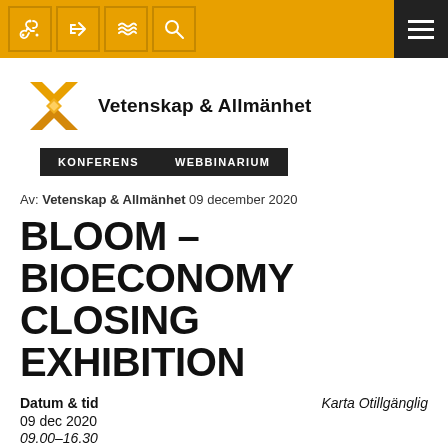[Figure (screenshot): Top navigation bar with orange background, icons (webhook, share, filter, search) and dark hamburger menu on right]
[Figure (logo): Vetenskap & Allmänhet logo: golden X-shaped butterfly/star symbol with text 'Vetenskap & Allmänhet']
KONFERENS  WEBBINARIUM
Av: Vetenskap & Allmänhet 09 december 2020
BLOOM – BIOECONOMY CLOSING EXHIBITION
Datum & tid
09 dec 2020
09.00–16.30
Karta Otillgänglig
Lägg till i kalender
iCal